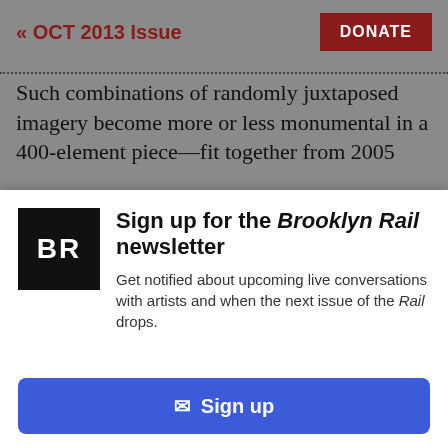« OCT 2013 Issue
Such combinations of randomly juxtaposed imagery become more or less monumental in a 400-element piece—fit together from 2005
[Figure (screenshot): CLOSE × button overlay on article text]
[Figure (logo): Brooklyn Rail BR logo — white BR text on black square background]
Sign up for the Brooklyn Rail newsletter
Get notified about upcoming live conversations with artists and when the next issue of the Rail drops.
✉ Sign up